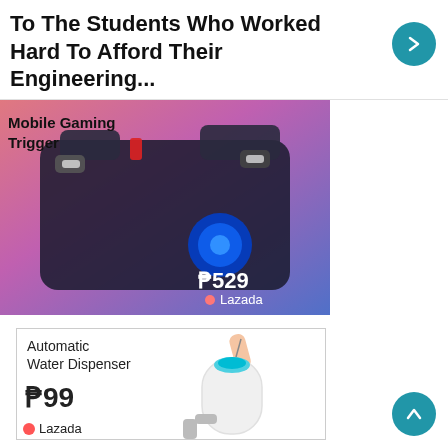To The Students Who Worked Hard To Afford Their Engineering...
[Figure (photo): Mobile Gaming Trigger product photo on gradient pink-purple background, showing a phone controller accessory. Price shown: ₱529. Lazada branding visible.]
[Figure (photo): Automatic Water Dispenser product photo, showing a white smart water pump dispenser with a hand pressing a button. Price shown: ₱99. Lazada branding visible.]